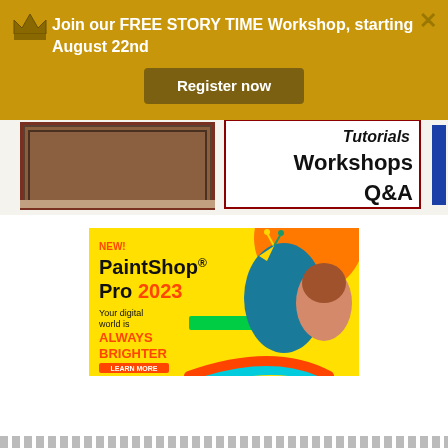[Figure (screenshot): Gold/yellow promotional banner with crown icon, text 'Join our FREE STORY TIME Workshop, starting August 22nd', a 'Register now' button, and a close X button]
[Figure (screenshot): Decorative image on left showing framed artwork/painting with dark red border. Right side shows text 'Tutorials Workshops Q&A' in black on white background with dark red border. Blue bar on far right.]
[Figure (advertisement): PaintShop Pro 2023 advertisement on yellow background. Shows 'NEW!', 'PaintShop Pro 2023', 'Your digital world is ALWAYS BRIGHTER', 'LEARN MORE' button. Peacock and woman image on right side.]